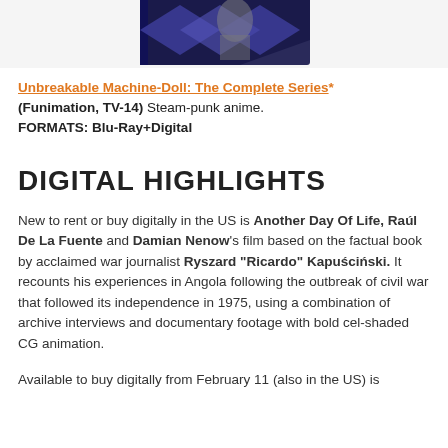[Figure (photo): Product image of Unbreakable Machine-Doll Blu-ray box set, partially visible at top of page]
Unbreakable Machine-Doll: The Complete Series* (Funimation, TV-14) Steam-punk anime.
FORMATS: Blu-Ray+Digital
DIGITAL HIGHLIGHTS
New to rent or buy digitally in the US is Another Day Of Life, Raúl De La Fuente and Damian Nenow's film based on the factual book by acclaimed war journalist Ryszard "Ricardo" Kapuściński. It recounts his experiences in Angola following the outbreak of civil war that followed its independence in 1975, using a combination of archive interviews and documentary footage with bold cel-shaded CG animation.
Available to buy digitally from February 11 (also in the US) is